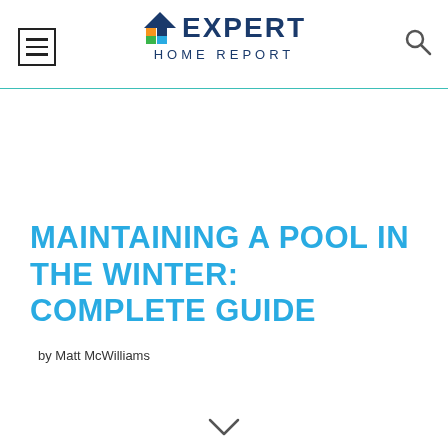EXPERT HOME REPORT
MAINTAINING A POOL IN THE WINTER: COMPLETE GUIDE
by Matt McWilliams